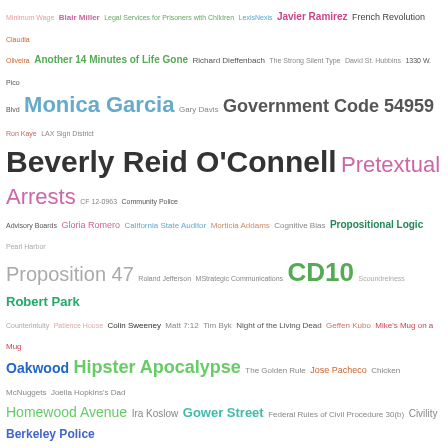[Figure (other): Word cloud / tag cloud containing legal, civic, and political terms of varying sizes and colors including: Minimum Wage, Blair Miller, Legal Services for Prisoners with Children, LexisNexis, Javier Ramirez, French Revolution, Claudia Oliveira, Another 14 Minutes of Life Gone, Richard Dieffenbach, The Strong Silent Type, David St. Hubbins, 1330 W. Pico Blvd, Monica Garcia, Gary Davis, Government Code 54959, Ron Kaye, LAX Sign District, Beverly Reid O'Connell, Pretextual Arrests, CF 12-0963, Community Police Advisory Boards, Gloria Romero, California State Auditor, Morticia Addams, Cognitive Bias, Propositional Logic, Pearl Harbor, Proposition 47, Roland Jefferson, MStrategic Communications, CD10, Scoundrelness, Robert Park, Counterintuity, Colin Sweeney, Matt 7:12, Tim Byk, Night of the Living Dead, Geffen Kubo, Mike's Mug on a Mug, Oakwood, Hipster Apocalypse, The Golden Rule, Jose Pacheco, Chicken McNuggets, Joella Hopkins's Dad, Homewood Avenue, Ira Koslow, Gower Street, Federal Rules of Civil Procedure 30(b), Civility, Berkeley Police Department, Echo Park, Expert Testimony, Rachel Miller, VE Day, East Hollywood Neighborhood Council, Ilse Escobar, Red Line, Sue Pascoe, Peter Scheer, Hardship Exemptions, Hyperenforcement, Santa Regis, Jim Hood, Seleta Reynolds, #KO, Americans With Disabilities Act, Racism, Elliot Zorensky, Strollers, Nick Carter, The People Concern, Aleister Crowley, Rampart Division, Henry Kissinger, Village Theater, Beverly Hills Weekly, Steve Houchin, Franchise Tax Board, Juliana Mercurio, Cuba Gooding Endeavors, Annual Planning Report, 4907PC, Ariel, Lynn Borland, Benjamin Jones, Nathaniel Robert Pinnock, CF 10-0154, Wanda Brown, The Blade Itself Incites to Violence, David Zahniser, Private Persons Arrests, The Tempest, L. Ron Hubbard, Stuart Jaye, Village Charter Academy, Amy Gebert, Frederick Passageway, Building Permits, Uriah Heep, Manana, Racially Restrictive Covenants, Whores, Bureau of Contract Administration, Chesapeake Apartments, Heather Repenning, Tom Penn, Public Meetings, Contempt of Court, Rudyard Kipling, John Stobart, CD9, Judicial Notice, Gina Atza, CPRA 6253(a), Longitudinal Spatial Hedonic Models, Alan Yochelson, Conservatorship, University of Southern California]